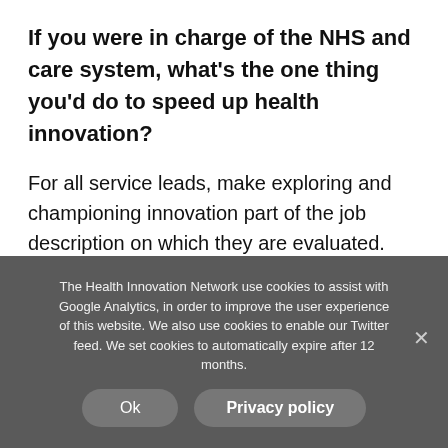If you were in charge of the NHS and care system, what's the one thing you'd do to speed up health innovation?
For all service leads, make exploring and championing innovation part of the job description on which they are evaluated. Create a National Innovation Channel which
The Health Innovation Network use cookies to assist with Google Analytics, in order to improve the user experience of this website. We also use cookies to enable our Twitter feed. We set cookies to automatically expire after 12 months.
Ok
Privacy policy